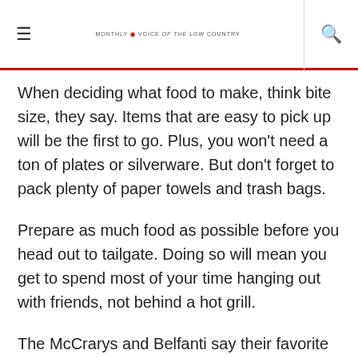MONTHLY VOICE of the LOW COUNTRY
When deciding what food to make, think bite size, they say. Items that are easy to pick up will be the first to go. Plus, you won't need a ton of plates or silverware. But don't forget to pack plenty of paper towels and trash bags.
Prepare as much food as possible before you head out to tailgate. Doing so will mean you get to spend most of your time hanging out with friends, not behind a hot grill.
The McCrarys and Belfanti say their favorite way to transport food to a tailgate is using aluminum pans,